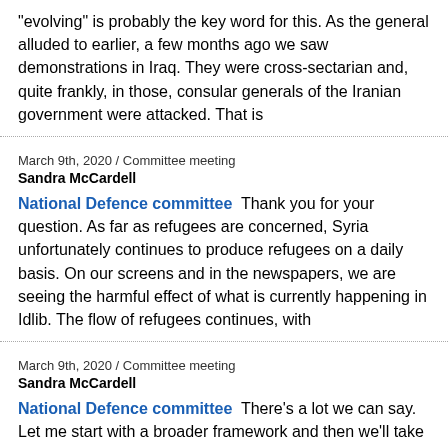"evolving" is probably the key word for this. As the general alluded to earlier, a few months ago we saw demonstrations in Iraq. They were cross-sectarian and, quite frankly, in those, consular generals of the Iranian government were attacked. That is
March 9th, 2020 / Committee meeting
Sandra McCardell
National Defence committee  Thank you for your question. As far as refugees are concerned, Syria unfortunately continues to produce refugees on a daily basis. On our screens and in the newspapers, we are seeing the harmful effect of what is currently happening in Idlib. The flow of refugees continues, with
March 9th, 2020 / Committee meeting
Sandra McCardell
National Defence committee  There's a lot we can say. Let me start with a broader framework and then we'll take it back to